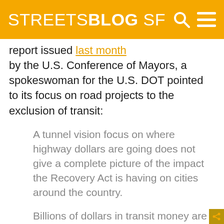STREETSBLOG SF
report issued last month by the U.S. Conference of Mayors, a spokeswoman for the U.S. DOT pointed to its focus on road projects to the exclusion of transit:
A tunnel vision focus on where highway dollars are going does not give a complete picture of the impact the Recovery Act is having on cities around the country.
Billions of dollars in transit money are already out the door and more is on the way to help our urban centers with their vital transportation systems